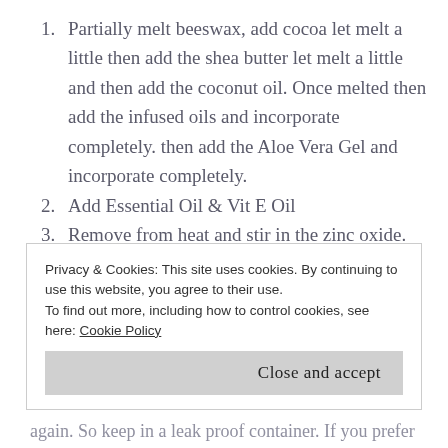Partially melt beeswax, add cocoa let melt a little then add the shea butter let melt a little and then add the coconut oil. Once melted then add the infused oils and incorporate completely. then add the Aloe Vera Gel and incorporate completely.
Add Essential Oil & Vit E Oil
Remove from heat and stir in the zinc oxide.  Be careful and wear a mask and goggles so as not to get in mucus membranes while stirring.  Use a whisk to mix as through as possible.
Let sit till it solidifies. Will take a while. Then
Privacy & Cookies: This site uses cookies. By continuing to use this website, you agree to their use.
To find out more, including how to control cookies, see here: Cookie Policy
Close and accept
again. So keep in a leak proof container. If you prefer